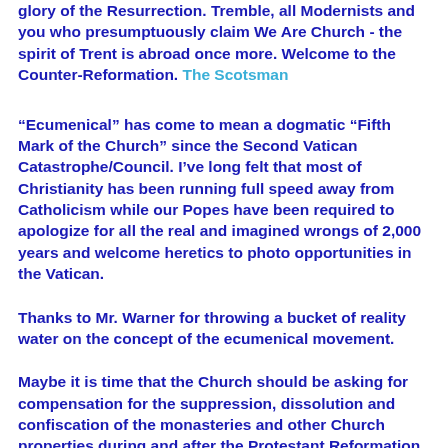glory of the Resurrection. Tremble, all Modernists and you who presumptuously claim We Are Church - the spirit of Trent is abroad once more. Welcome to the Counter-Reformation. The Scotsman
“Ecumenical” has come to mean a dogmatic “Fifth Mark of the Church” since the Second Vatican Catastrophe/Council. I’ve long felt that most of Christianity has been running full speed away from Catholicism while our Popes have been required to apologize for all the real and imagined wrongs of 2,000 years and welcome heretics to photo opportunities in the Vatican.
Thanks to Mr. Warner for throwing a bucket of reality water on the concept of the ecumenical movement.
Maybe it is time that the Church should be asking for compensation for the suppression, dissolution and confiscation of the monasteries and other Church properties during and after the Protestant Reformation